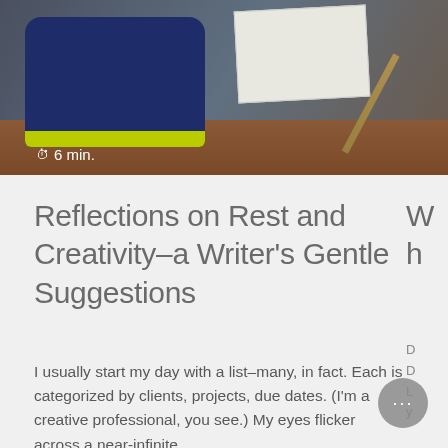[Figure (photo): Photograph showing a dark blue pouch/bag with yellow-green trim on a wooden desk surface, alongside notebooks and a pencil, with a timer badge reading '6 min.']
6 min.
Reflections on Rest and Creativity–a Writer's Gentle Suggestions
I usually start my day with a list–many, in fact. Each is categorized by clients, projects, due dates. (I'm a creative professional, you see.) My eyes flicker across a near-infinite...
Continue reading →